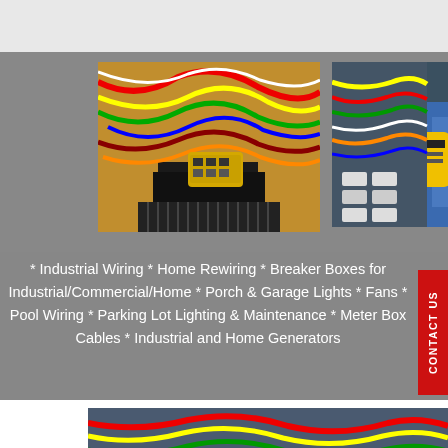[Figure (logo): Joe Pizik Electric, Inc. logo with JP initials, red and navy text, tagline HIGHLY SKILLED TECHNICIANS]
[Figure (photo): Close-up of colorful electrical wires and wiring harness with yellow terminal block]
[Figure (photo): Electrician in blue shirt using yellow testing tool on circuit breaker panel]
* Industrial Wiring * Home Rewiring * Breaker Boxes for Industrial/Commercial/Home * Porch & Garage Lights * Fans * Pool Wiring * Parking Lot Lighting & Maintenance * Meter Box Cables * Industrial and Home Generators
[Figure (photo): Electrician working on colorful wired circuit breaker panel using yellow diagnostic tool]